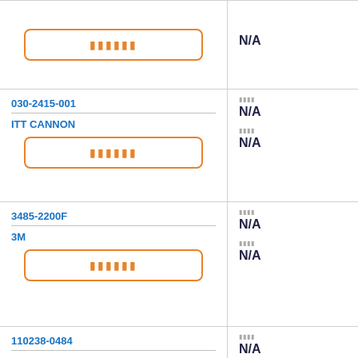| Part / Manufacturer / Image | Attributes |
| --- | --- |
| [button] | N/A |
| 030-2415-001 / ITT CANNON / [button] | N/A
N/A |
| 3485-2200F / 3M / [button] | N/A
N/A |
| 110238-0484 / ITT CANNON | N/A
... |